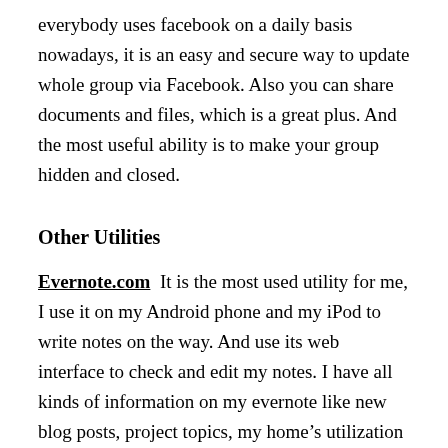everybody uses facebook on a daily basis nowadays, it is an easy and secure way to update whole group via Facebook. Also you can share documents and files, which is a great plus. And the most useful ability is to make your group hidden and closed.
Other Utilities
Evernote.com  It is the most used utility for me, I use it on my Android phone and my iPod to write notes on the way. And use its web interface to check and edit my notes. I have all kinds of information on my evernote like new blog posts, project topics, my home's utilization bills, etc.